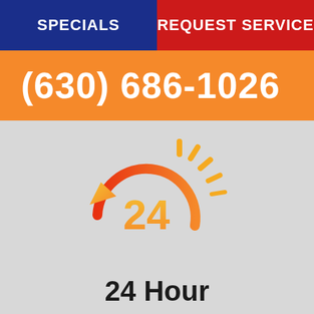SPECIALS
REQUEST SERVICE
(630) 686-1026
[Figure (illustration): 24-hour clock icon with orange circular arrow and rays, gradient from orange to red, displaying '24' in the center]
24 Hour